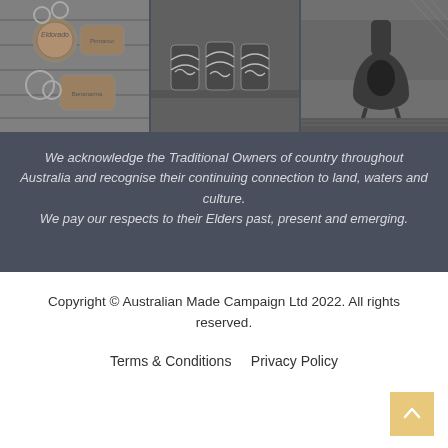[Figure (photo): Three grayscale product photos in a horizontal strip: left shows leather keyrings with text engravings (Eldorado, Pinnaroo, Benanarina), center shows decorative cans/cups with Australian wave designs on a shelf, right shows a clay chiminea outdoor fireplace on a deck]
We acknowledge the Traditional Owners of country throughout Australia and recognise their continuing connection to land, waters and culture.
We pay our respects to their Elders past, present and emerging.
Copyright © Australian Made Campaign Ltd 2022. All rights reserved.
Terms & Conditions    Privacy Policy